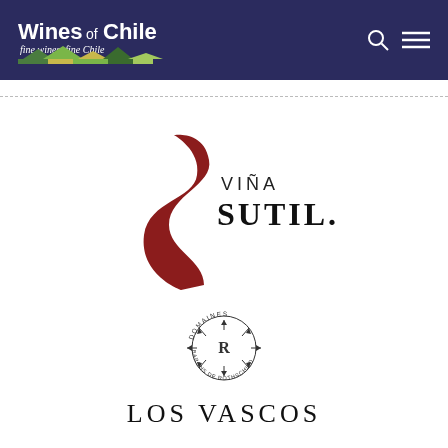[Figure (logo): Wines of Chile logo - white text on dark navy background with colorful landscape silhouette and italic tagline 'fine wines, fine Chile']
[Figure (logo): Viña Sutil logo - dark red S-shaped curl design with 'VIÑA SUTIL.' text in mixed serif typography]
[Figure (logo): Los Vascos logo - circular Domaines Barons de Rothschild emblem with arrows radiating from center R, above text 'LOS VASCOS' in wide serif capitals]